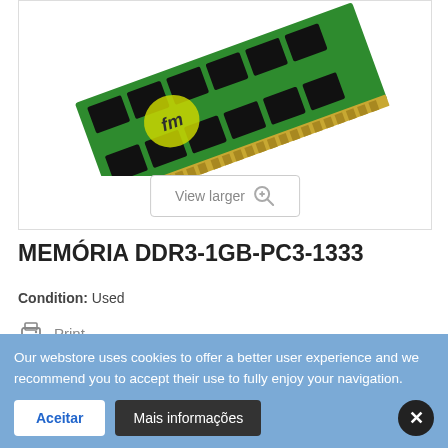[Figure (photo): Green DDR3 SO-DIMM RAM module with gold contacts and black chips, displayed at an angle. Branded with 'fm' logo. View larger button below the image.]
MEMÓRIA DDR3-1GB-PC3-1333
Condition: Used
Print
7,00 €
Our webstore uses cookies to offer a better user experience and we recommend you to accept their use to fully enjoy your navigation.
Aceitar
Mais informações